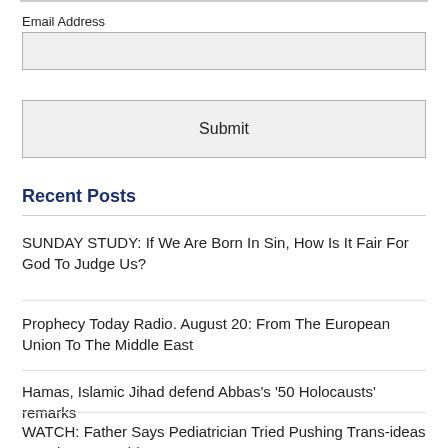Email Address
Submit
Recent Posts
SUNDAY STUDY: If We Are Born In Sin, How Is It Fair For God To Judge Us?
Prophecy Today Radio. August 20: From The European Union To The Middle East
Hamas, Islamic Jihad defend Abbas’s ‘50 Holocausts’ remarks
WATCH: Father Says Pediatrician Tried Pushing Trans-ideas On His 3-year-old Son